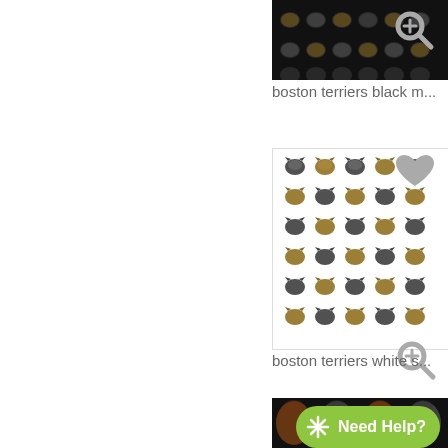[Figure (photo): Partial product image - boston terriers black pattern fabric, top portion only visible]
boston terriers black m...
[Figure (photo): Product image - boston terriers white background pattern fabric with repeating dog faces]
boston terriers white s...
[Figure (photo): Partial product image - dark fabric with dog faces pattern, bottom portion visible]
Need Help?